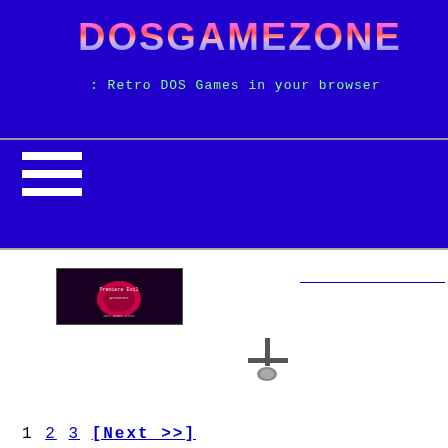DOSGAMEZONE
Retro DOS Games in your browser
[Figure (other): Hamburger/menu icon with three horizontal white lines on blue background]
[Figure (screenshot): Small thumbnail image showing a game title screen with dark background]
[Figure (other): Joystick or down arrow cursor icon]
1  2  3  [Next >>]
Return to top ; Disclaimer ; Terms of use ; Privacy Policy ; Cookie Policy ; DMCA ; Contact Us
Cookies help deliver our services. By using our services, you agree to the use of cookies.
ACCEPT COOKIES    What are cookies?